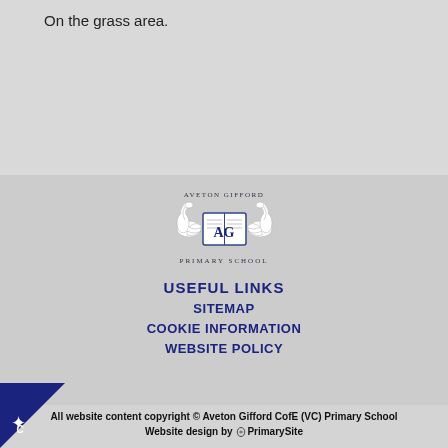On the grass area.
[Figure (logo): Aveton Gifford Primary School crest with two swans flanking an open book with letters AG, text reading AVETON GIFFORD PRIMARY SCHOOL]
USEFUL LINKS
SITEMAP
COOKIE INFORMATION
WEBSITE POLICY
All website content copyright © Aveton Gifford CofE (VC) Primary School Website design by PrimarySite